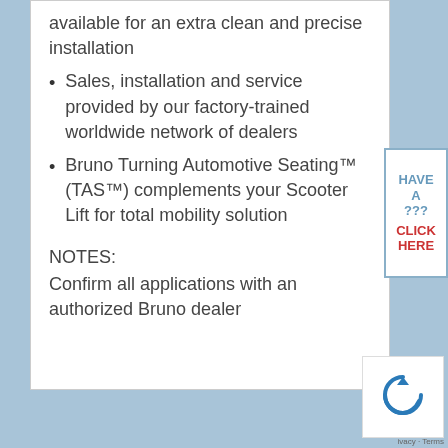available for an extra clean and precise installation
Sales, installation and service provided by our factory-trained worldwide network of dealers
Bruno Turning Automotive Seating™ (TAS™) complements your Scooter Lift for total mobility solution
NOTES:
Confirm all applications with an authorized Bruno dealer